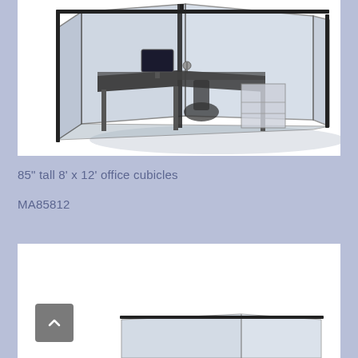[Figure (illustration): 3D illustration of an office cubicle with glass/transparent walls, an L-shaped desk, chair, and storage unit. The cubicle has dark metal framing and blue-tinted transparent panels, shown from an isometric perspective.]
85" tall 8' x 12' office cubicles
MA85812
[Figure (illustration): Partial view of another office cubicle product shown at the bottom of the page, partially cut off.]